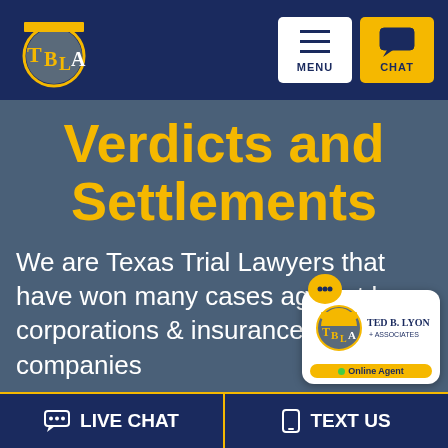[Figure (logo): TBLA logo - circular design with gold and navy colors, letters T, B, L, A]
[Figure (screenshot): Navigation buttons: MENU (hamburger icon) and CHAT (speech bubble icon) in top right of header]
Verdicts and Settlements
We are Texas Trial Lawyers that have won many cases against large corporations & insurance companies
[Figure (logo): Ted B. Lyon & Associates chat widget overlay with online agent badge]
LIVE CHAT
TEXT US